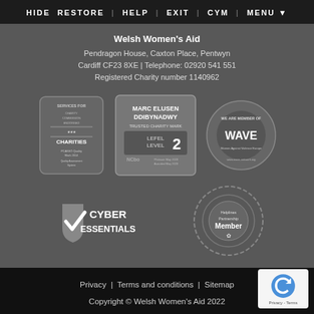HIDE RESTORE | HELP | EXIT | CYM | MENU
Welsh Women's Aid
Pendragon House, Caxton Place, Pentwyn
Cardiff CF23 8XE | Telephone: 02920 541 551
Registered Charity number 1140962
[Figure (logo): Charity Commission Endorsed Services for Charities badge - PCASSO Quality Assessment System]
[Figure (logo): Marc Elusen Ddibynadwy Trusted Charity Mark Level 2 NCVO badge]
[Figure (logo): WAVE - Women Against Violence Europe member badge]
[Figure (logo): Cyber Essentials badge with checkmark]
[Figure (logo): Helplines Partnership Member badge]
Privacy | Terms and conditions | Sitemap
Copyright © Welsh Women's Aid 2022